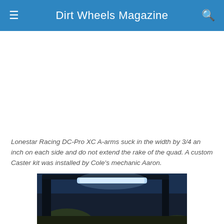Dirt Wheels Magazine
[Figure (other): Advertisement or empty space area below the header]
Lonestar Racing DC-Pro XC A-arms suck in the width by 3/4 an inch on each side and do not extend the rake of the quad. A custom Caster kit was installed by Cole's mechanic Aaron.
[Figure (photo): Photo of an off-road vehicle/ATV with a light bar visible at top, taken at night or dusk in a rocky/desert terrain setting]